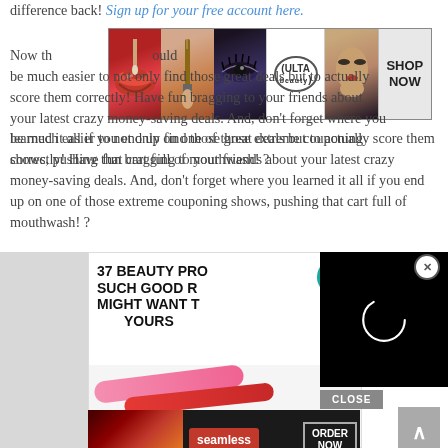difference back! Sign up for your free account here.
[Figure (screenshot): Ulta Beauty advertisement banner showing makeup images (lips, brush, eye makeup), Ulta logo, a model face, and SHOP NOW button]
Now that you know all these great tips, things should be much easier to not only find those great deals but to actually score them correctly! Have fun bragging to your friends about your latest crazy money-saving deals. And, don't forget where you learned it all if you end up on one of those extreme couponing shows, pushing that cart full of mouthwash! ?
[Figure (screenshot): Partially visible content card showing '22 WORDS' teal badge and bold headline '37 BEAUTY PRO... SUCH GOOD R... MIGHT WANT T... YOURS...' with cosmetic swatches below, overlaid by a black video loading overlay with spinner circle, a CLOSE button, and a Seamless food delivery ad at the bottom with ORDER NOW button]